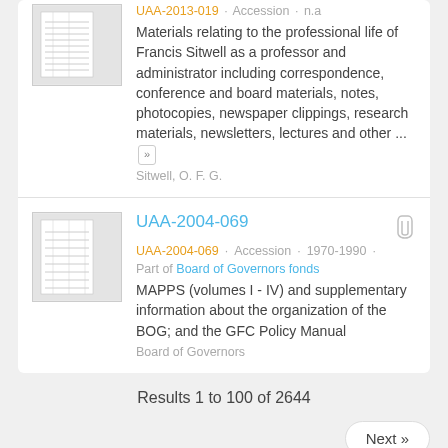UAA-2013-019 · Accession · n.a   Materials relating to the professional life of Francis Sitwell as a professor and administrator including correspondence, conference and board materials, notes, photocopies, newspaper clippings, research materials, newsletters, lectures and other ... »   Sitwell, O. F. G.
UAA-2004-069
UAA-2004-069 · Accession · 1970-1990 · Part of Board of Governors fonds   MAPPS (volumes I - IV) and supplementary information about the organization of the BOG; and the GFC Policy Manual   Board of Governors
Results 1 to 100 of 2644
Next »